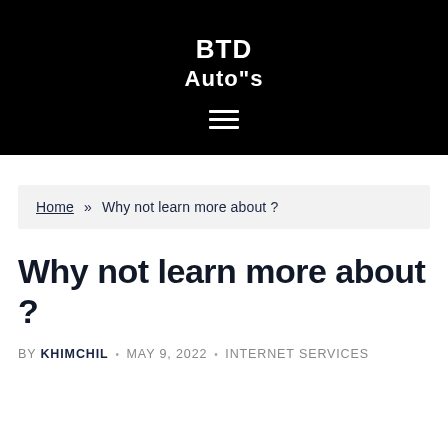BTD Auto"s
Home » Why not learn more about ?
Why not learn more about ?
BY KHIMCHIL • MAY 9, 2022 • INTERNET SERVICES